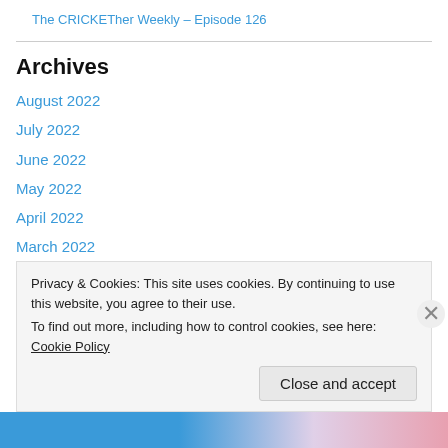The CRICKETher Weekly – Episode 126
Archives
August 2022
July 2022
June 2022
May 2022
April 2022
March 2022
February 2022
January 2022
December 2021
Privacy & Cookies: This site uses cookies. By continuing to use this website, you agree to their use. To find out more, including how to control cookies, see here: Cookie Policy
Close and accept